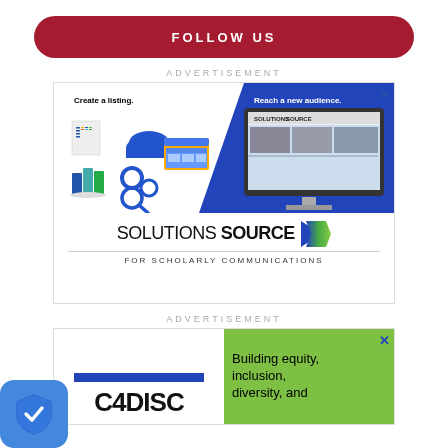FOLLOW US
ADVERTISEMENT
[Figure (illustration): Solutions Source advertisement: 'Create a listing. Reach a new audience.' with icons for documents, cloud, gears, books, magnifying glass on left and a computer monitor showing Solutions SOURCE website on right. Bottom text: SOLUTIONS SOURCE FOR SCHOLARLY COMMUNICATIONS]
ADVERTISEMENT
[Figure (illustration): C4DISC advertisement showing logo with blue bar and 'C4DISC' text on left, and green panel on right with text 'Building equity, inclusion, diversity, and']